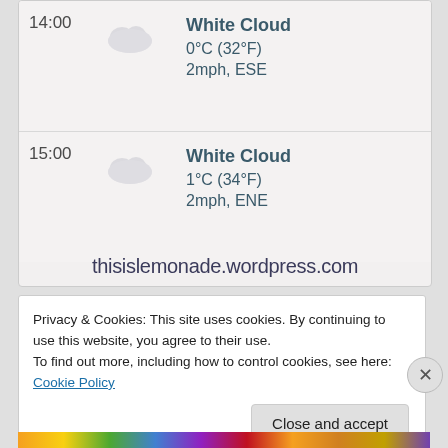[Figure (screenshot): Weather app screenshot showing two time slots: 14:00 - White Cloud, 0°C (32°F), 2mph ESE; and 15:00 - White Cloud, 1°C (34°F), 2mph ENE. Each row has a cloud icon. Below the rows is a handwritten-style watermark: thisislemonade.wordpress.com]
Privacy & Cookies: This site uses cookies. By continuing to use this website, you agree to their use.
To find out more, including how to control cookies, see here: Cookie Policy